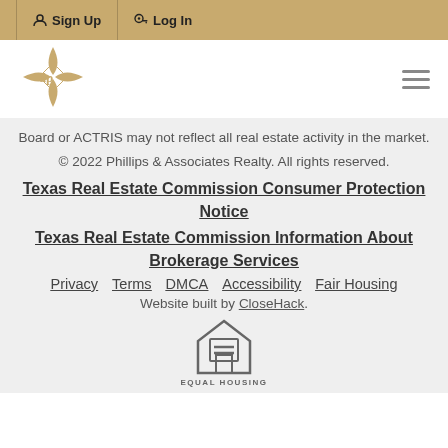Sign Up   Log In
[Figure (logo): Phillips & Associates Realty diamond/compass logo in gold]
Board or ACTRIS may not reflect all real estate activity in the market.
© 2022 Phillips & Associates Realty. All rights reserved.
Texas Real Estate Commission Consumer Protection Notice
Texas Real Estate Commission Information About Brokerage Services
Privacy   Terms   DMCA   Accessibility   Fair Housing
Website built by CloseHack.
[Figure (logo): Equal Housing Opportunity logo — house with equals sign and text EQUAL HOUSING]